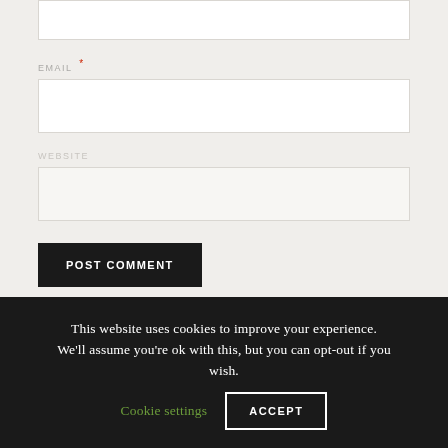[Input box top]
EMAIL *
[Email input box]
WEBSITE
[Website input box]
POST COMMENT
This website uses cookies to improve your experience. We'll assume you're ok with this, but you can opt-out if you wish. Cookie settings ACCEPT